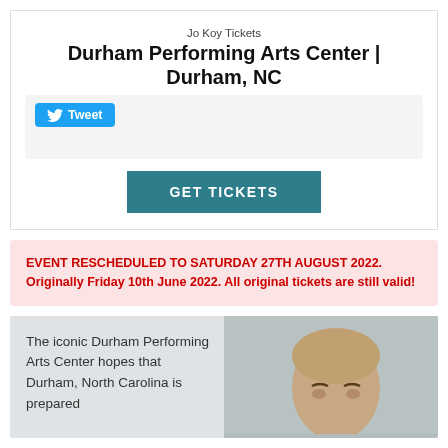Jo Koy Tickets
Durham Performing Arts Center | Durham, NC
[Figure (screenshot): Tweet button (Twitter/X social share button)]
GET TICKETS
EVENT RESCHEDULED TO SATURDAY 27TH AUGUST 2022. Originally Friday 10th June 2022. All original tickets are still valid!
The iconic Durham Performing Arts Center hopes that Durham, North Carolina is prepared
[Figure (photo): Photo of Jo Koy, a bald man seen from shoulders up against a light gray background]